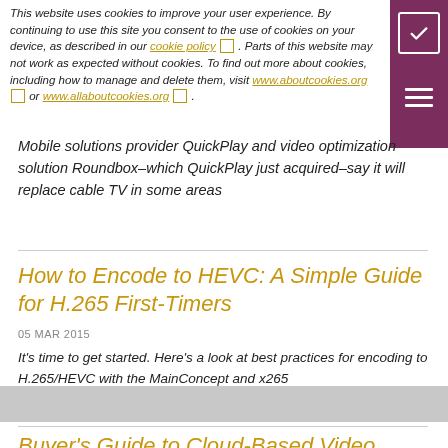This website uses cookies to improve your user experience. By continuing to use this site you consent to the use of cookies on your device, as described in our cookie policy. Parts of this website may not work as expected without cookies. To find out more about cookies, including how to manage and delete them, visit www.aboutcookies.org or www.allaboutcookies.org.
Mobile solutions provider QuickPlay and video optimization solution Roundbox–which QuickPlay just acquired–say it will replace cable TV in some areas
How to Encode to HEVC: A Simple Guide for H.265 First-Timers
05 MAR 2015
It's time to get started. Here's a look at best practices for encoding to H.265/HEVC with the MainConcept and x265
[Figure (photo): Grey image placeholder / thumbnail]
Buyer's Guide to Cloud-Based Video Encoding and